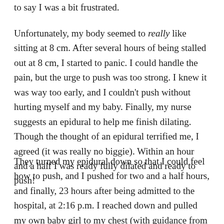to say I was a bit frustrated.
Unfortunately, my body seemed to really like sitting at 8 cm. After several hours of being stalled out at 8 cm, I started to panic. I could handle the pain, but the urge to push was too strong. I knew it was way too early, and I couldn't push without hurting myself and my baby. Finally, my nurse suggests an epidural to help me finish dilating. Though the thought of an epidural terrified me, I agreed (it was really no biggie). Within an hour and a half I was ready fully dilated and ready to push!
They turned my epidural down so that I could feel how to push, and I pushed for two and a half hours, and finally, 23 hours after being admitted to the hospital, at 2:16 p.m. I reached down and pulled my own baby girl to my chest (with guidance from my doctor). It was